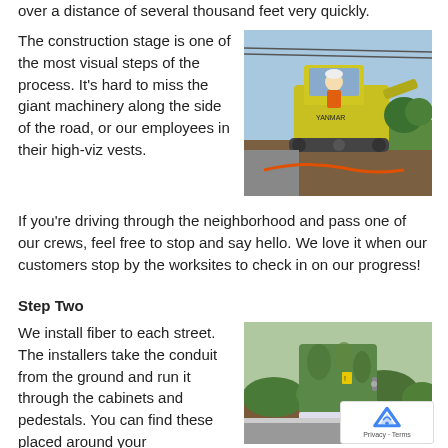over a distance of several thousand feet very quickly.
The construction stage is one of the most visual steps of the process. It's hard to miss the giant machinery along the side of the road, or our employees in their high-viz vests.
[Figure (photo): Worker in orange high-viz vest and hard hat operating a yellow Yanmar mini excavator on a road construction site.]
If you're driving through the neighborhood and pass one of our crews, feel free to stop and say hello. We love it when our customers stop by the worksites to check in on our progress!
Step Two
We install fiber to each street. The installers take the conduit from the ground and run it through the cabinets and pedestals. You can find these placed around your neighborhood. Cables are pulled
[Figure (photo): A green utility cabinet or pedestal decorated with a nature-themed wrap showing plants and foliage, placed on mulch landscaping.]